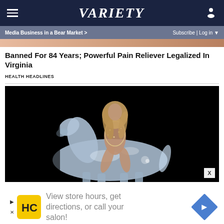VARIETY
Media Business in a Bear Market > | Subscribe | Log in
Banned For 84 Years; Powerful Pain Reliever Legalized In Virginia
HEALTH HEADLINES
[Figure (photo): Person in rhinestone outfit sitting on a silver/chrome horse sculpture against a black background]
View store hours, get directions, or call your salon!